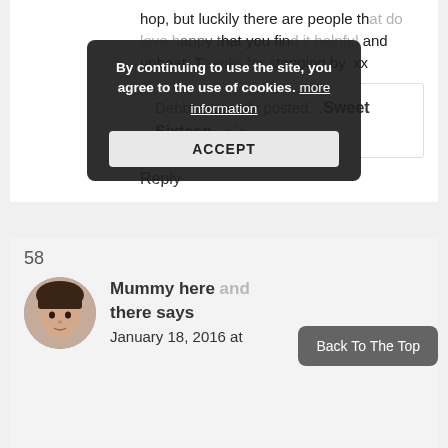hop, but luckily there are people that do love happy that you find it helpful and upbeat. Thanks for stopping by. xx
Debbie recently posted…Sweet Sixteen
Reply
58
Mummy here and there says
January 18, 2016 at
[Figure (other): Cookie consent popup overlay with text 'By continuing to use the site, you agree to the use of cookies. more information' and an ACCEPT button]
[Figure (other): Back To The Top button overlay in bottom right]
[Figure (photo): Circular avatar photo of a person with dark hair and fringe]